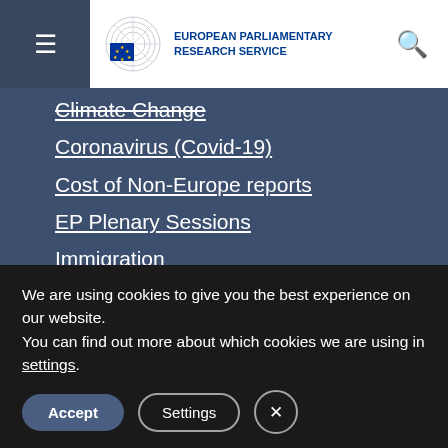European Parliamentary Research Service
Climate Change
Coronavirus (Covid-19)
Cost of Non-Europe reports
EP Plenary Sessions
Immigration
Latest Media
Russia's war on Ukraine
QUICK LINKS
EU Legislation in Progress
Podcasts
We are using cookies to give you the best experience on our website.
You can find out more about which cookies we are using in settings.